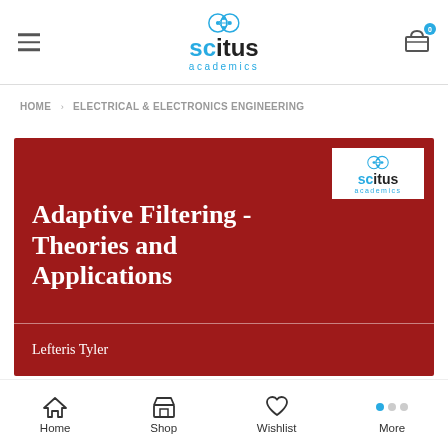scitus academics
HOME > ELECTRICAL & ELECTRONICS ENGINEERING
[Figure (illustration): Book cover for 'Adaptive Filtering - Theories and Applications' by Lefteris Tyler, published by Scitus Academics. Red background with white title text and publisher logo in top-right corner.]
Home  Shop  Wishlist  More